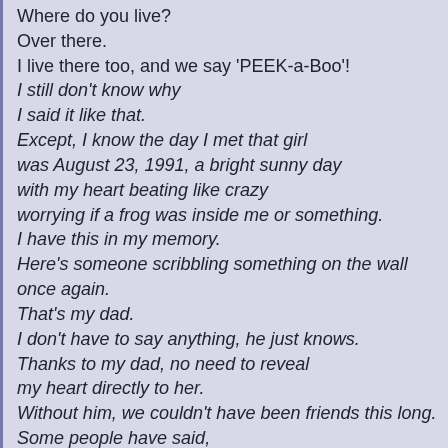Where do you live?
Over there.
I live there too, and we say 'PEEK-a-Boo'!
I still don't know why
I said it like that.
Except, I know the day I met that girl
was August 23, 1991, a bright sunny day
with my heart beating like crazy
worrying if a frog was inside me or something.
I have this in my memory.
Here's someone scribbling something on the wall once again.
That's my dad.
I don't have to say anything, he just knows.
Thanks to my dad, no need to reveal
my heart directly to her.
Without him, we couldn't have been friends this long.
Some people have said,
talking about love, is that all?
In reality, liking somebody is
the least productive thing in the world.
It doesn't feed you,